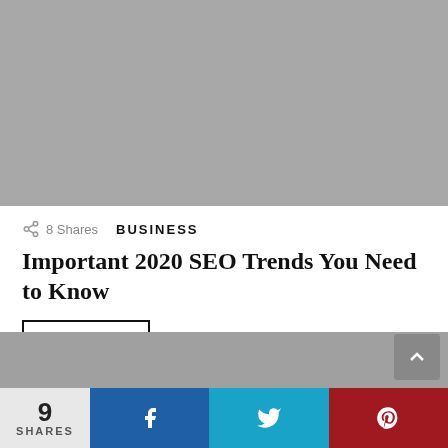[Figure (photo): Gray placeholder image at top]
8 Shares
BUSINESS
Important 2020 SEO Trends You Need to Know
Read More
[Figure (photo): Gray placeholder image below card]
9 SHARES — social share bar with Facebook, Twitter, Pinterest